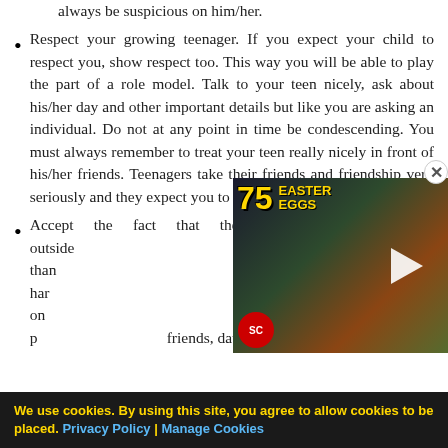always be suspicious on him/her.
Respect your growing teenager. If you expect your child to respect you, show respect too. This way you will be able to play the part of a role model. Talk to your teen nicely, ask about his/her day and other important details but like you are asking an individual. Do not at any point in time be condescending. You must always remember to treat your teen really nicely in front of his/her friends. Teenagers take their friends and friendship very seriously and they expect you to do the same.
Accept the fact that their friends and the life outside matters more to them than much you might work hard you spend with them on teens will always give p friends, dating and the l
[Figure (screenshot): Video overlay thumbnail showing '75 Easter Eggs' text in yellow on dark background with a play button and SC (Screen Crush) badge, with a close button (X).]
We use cookies. By using this site, you agree to allow cookies to be placed. Privacy Policy | Manage Cookies